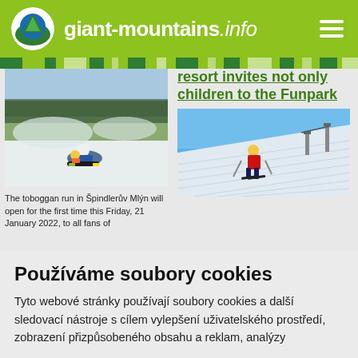giant-mountains.info
[Figure (photo): Person sledding on a toboggan in a snowy mountain resort (Špindlerův Mlýn), with ski slopes and forest in the background]
The toboggan run in Špindlerův Mlýn will open for the first time this Friday, 21 January 2022, to all fans of
resort invites not only children to the Funpark
[Figure (photo): Skier in red jacket skiing down a freshly groomed ski slope on a clear sunny day with ski lift towers in background]
Používáme soubory cookies
Tyto webové stránky používají soubory cookies a další sledovací nástroje s cílem vylepšení uživatelského prostředí, zobrazení přizpůsobeného obsahu a reklam, analýzy